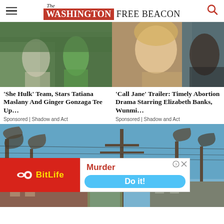The Washington Free Beacon
[Figure (photo): Scene from She-Hulk: two characters facing each other outdoors, one green-skinned]
'She Hulk' Team, Stars Tatiana Maslany And Ginger Gonzaga Tee Up…
Sponsored | Shadow and Act
[Figure (photo): Scene from Call Jane: close-up of a blonde woman with another woman in background]
'Call Jane' Trailer: Timely Abortion Drama Starring Elizabeth Banks, Wunmi…
Sponsored | Shadow and Act
[Figure (photo): Street scene with bare trees, utility poles, and brick buildings under blue sky; overlaid with BitLife and Murder ads]